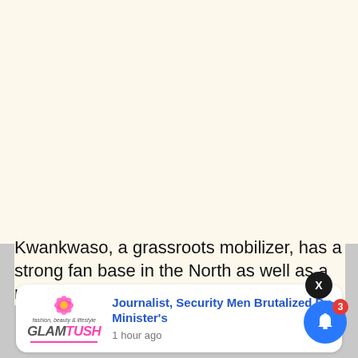[Figure (screenshot): Cream/off-white background area representing an article page background]
Kwankwaso, a grassroots mobilizer, has a strong fan base in the North as well as a number of Southern states
[Figure (screenshot): Push notification card from GLAMTUSH showing headline 'Journalist, Security Men Brutalized By Minister's' with timestamp '1 hour ago', overlaid on a gray dimmed background with an X close button and a blue bell notification icon with badge showing '3']